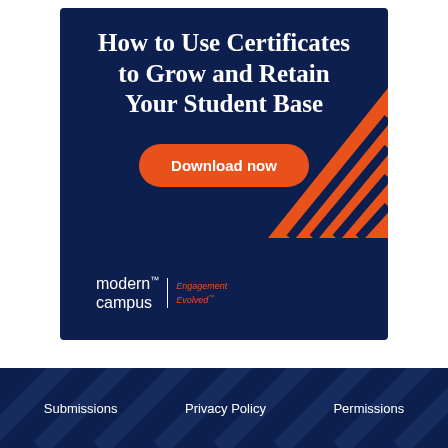[Figure (infographic): Modern Campus advertisement banner with dark navy background. Title reads 'How to Use Certificates to Grow and Retain Your Student Base'. Orange 'Download now' button. Decorative diagonal orange stripes in top-right corner. Modern Campus logo with 'Engagement Evolved' tagline at bottom.]
Submissions   Privacy Policy   Permissions